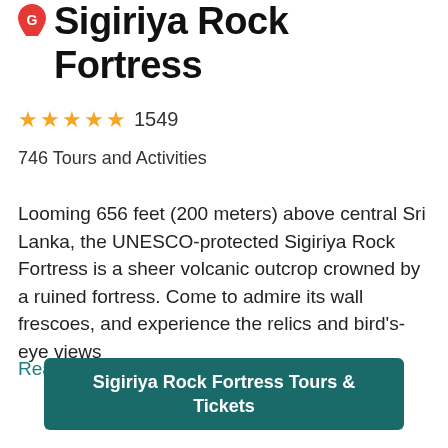Sigiriya Rock Fortress
★★★★★ 1549
746 Tours and Activities
Looming 656 feet (200 meters) above central Sri Lanka, the UNESCO-protected Sigiriya Rock Fortress is a sheer volcanic outcrop crowned by a ruined fortress. Come to admire its wall frescoes, and experience the relics and bird's-eye views
Read More
Sigiriya Rock Fortress Tours & Tickets